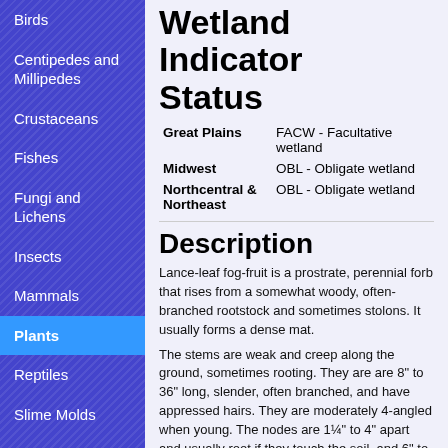Birds
Centipedes and Millipedes
Crustaceans
Fishes
Fungi and Lichens
Insects
Mammals
Plants
Reptiles
Slime Molds
Snails and Slugs
Wetland Indicator Status
| Region | Status |
| --- | --- |
| Great Plains | FACW - Facultative wetland |
| Midwest | OBL - Obligate wetland |
| Northcentral & Northeast | OBL - Obligate wetland |
Description
Lance-leaf fog-fruit is a prostrate, perennial forb that rises from a somewhat woody, often-branched rootstock and sometimes stolons. It usually forms a dense mat.
The stems are weak and creep along the ground, sometimes rooting. They are are 8" to 36" long, slender, often branched, and have appressed hairs. They are moderately 4-angled when young. The nodes are 1¼" to 4" apart and usually root if they touch the soil, and 6" to 20" long.
The leaves are opposite. Larger leaves are ¾" to 2⅜" wide. They are on short, winged, up to ³⁄₁₆" long leaf stalks. They are lance-shaped, broadest at or below the middle, broadly wedge-shaped to sharply pointed at the tip. They are pinnately veined, th... surface. The upper and lower surfaces are moderately... The margins are untoothed near the base and have 5 t... midpoint to the tip.